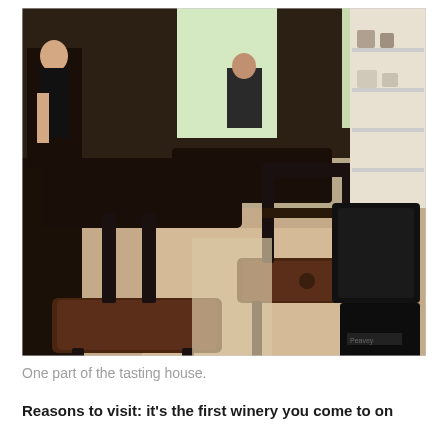[Figure (photo): Interior of a winery tasting house showing bar-height stools with dark brown padded seats and metal frames, wooden tables, a woman in a black top standing behind a counter, a man seated in the background, hardwood floors, and shelving with equipment on the right side. Natural light comes through a doorway in the background.]
One part of the tasting house.
Reasons to visit:  it's the first winery you come to on